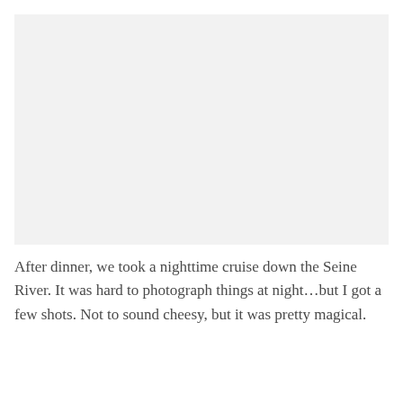[Figure (photo): A nighttime photograph placeholder area, light gray background representing an image from a nighttime cruise down the Seine River.]
After dinner, we took a nighttime cruise down the Seine River. It was hard to photograph things at night…but I got a few shots. Not to sound cheesy, but it was pretty magical.